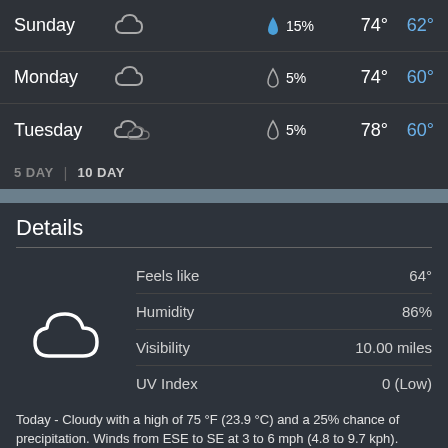| Day | Icon | Precip | High | Low |
| --- | --- | --- | --- | --- |
| Sunday | Cloudy | 15% | 74° | 62° |
| Monday | Cloudy | 5% | 74° | 60° |
| Tuesday | Cloudy | 5% | 78° | 60° |
5 DAY | 10 DAY
Details
| Detail | Value |
| --- | --- |
| Feels like | 64° |
| Humidity | 86% |
| Visibility | 10.00 miles |
| UV Index | 0 (Low) |
Today - Cloudy with a high of 75 °F (23.9 °C) and a 25% chance of precipitation. Winds from ESE to SE at 3 to 6 mph (4.8 to 9.7 kph).
Tonight - Cloudy with a 25% chance of precipitation. Winds variable. The overnight low will be 63 °F (17.2 °C).